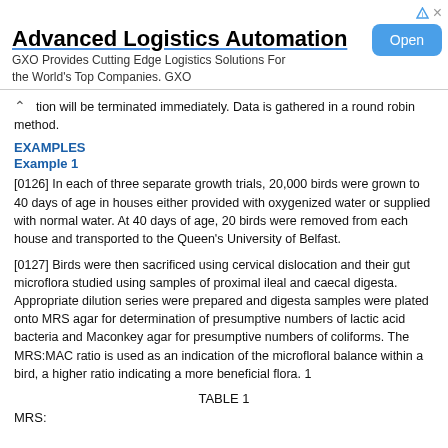[Figure (other): Advertisement banner: 'Advanced Logistics Automation' by GXO with Open button]
tion will be terminated immediately. Data is gathered in a round robin method.
EXAMPLES
Example 1
[0126] In each of three separate growth trials, 20,000 birds were grown to 40 days of age in houses either provided with oxygenized water or supplied with normal water. At 40 days of age, 20 birds were removed from each house and transported to the Queen's University of Belfast.
[0127] Birds were then sacrificed using cervical dislocation and their gut microflora studied using samples of proximal ileal and caecal digesta. Appropriate dilution series were prepared and digesta samples were plated onto MRS agar for determination of presumptive numbers of lactic acid bacteria and Maconkey agar for presumptive numbers of coliforms. The MRS:MAC ratio is used as an indication of the microfloral balance within a bird, a higher ratio indicating a more beneficial flora. 1
TABLE 1
MRS: